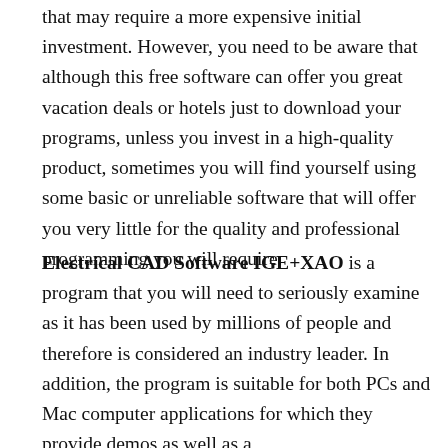that may require a more expensive initial investment. However, you need to be aware that although this free software can offer you great vacation deals or hotels just to download your programs, unless you invest in a high-quality product, sometimes you will find yourself using some basic or unreliable software that will offer you very little for the quality and professional programming you will require.
Electrical CAD Software IGE+XAO is a program that you will need to seriously examine as it has been used by millions of people and therefore is considered an industry leader. In addition, the program is suitable for both PCs and Mac computer applications for which they provide demos as well as a